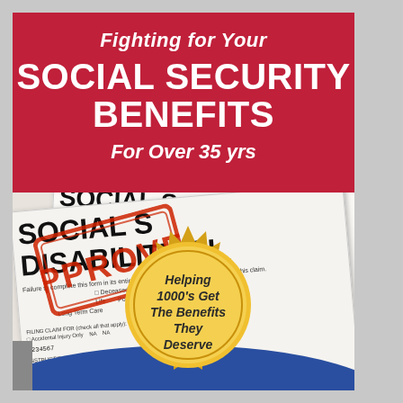Fighting for Your SOCIAL SECURITY BENEFITS For Over 35 yrs
[Figure (illustration): Book cover showing a Social Security Disability Claim form with an APPROVED red stamp, and a gold seal badge reading 'Helping 1000's Get The Benefits They Deserve'. Red banner at top, blue curve at bottom.]
Helping 1000's Get The Benefits They Deserve